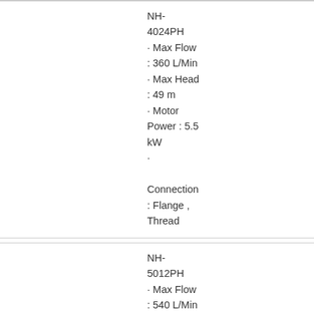NH-4024PH · Max Flow : 360 L/Min · Max Head : 49 m · Motor Power : 5.5 kW · Connection : Flange , Thread
NH-5012PH · Max Flow : 540 L/Min · Max Head : 24 m